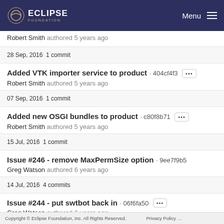Eclipse Foundation — Menu
Robert Smith authored 5 years ago
28 Sep, 2016 1 commit
Added VTK importer service to product · 404cf4f3
Robert Smith authored 5 years ago
07 Sep, 2016 1 commit
Added new OSGI bundles to product · c80f8b71
Robert Smith authored 5 years ago
15 Jul, 2016 1 commit
Issue #246 - remove MaxPermSize option · 9ee7f9b5
Greg Watson authored 6 years ago
14 Jul, 2016 4 commits
Issue #244 - put swtbot back in · 06f6fa50
Greg Watson authored 6 years ago
Copyright © Eclipse Foundation, Inc. All Rights Reserved.    Privacy Policy …